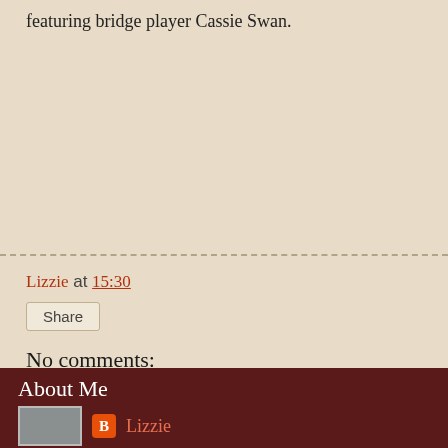featuring bridge player Cassie Swan.
Lizzie at 15:30
Share
No comments:
Post a Comment
Home
View web version
About Me
Lizzie